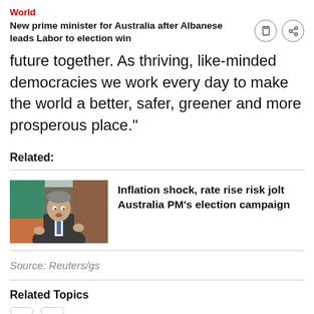World
New prime minister for Australia after Albanese leads Labor to election win
future together. As thriving, like-minded democracies we work every day to make the world a better, safer, greener and more prosperous place."
Related:
[Figure (photo): Photo of Scott Morrison speaking, gesturing with hands, wearing a grey suit and blue tie, with Australian flag in background]
Inflation shock, rate rise risk jolt Australia PM's election campaign
Source: Reuters/gs
Related Topics